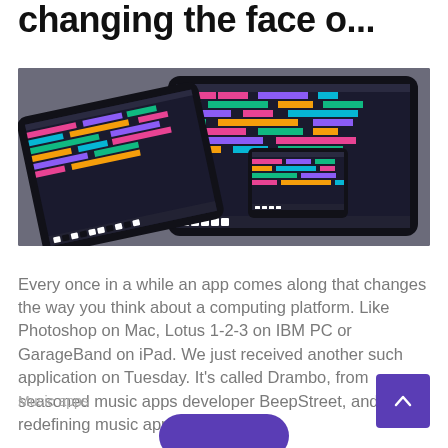changing the face o...
[Figure (photo): Photo of multiple tablets and a smartphone running music production/DAW apps with colorful sequencer grids on dark backgrounds]
Every once in a while an app comes along that changes the way you think about a computing platform. Like Photoshop on Mac, Lotus 1-2-3 on IBM PC or GarageBand on iPad. We just received another such application on Tuesday. It's called Drambo, from seasoned music apps developer BeepStreet, and it's redefining music apps on [...]
Music apps